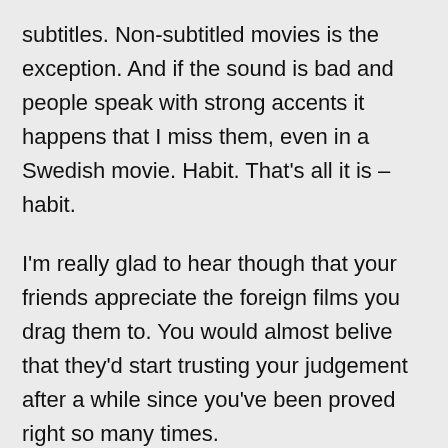subtitles. Non-subtitled movies is the exception. And if the sound is bad and people speak with strong accents it happens that I miss them, even in a Swedish movie. Habit. That's all it is – habit.
I'm really glad to hear though that your friends appreciate the foreign films you drag them to. You would almost belive that they'd start trusting your judgement after a while since you've been proved right so many times.
It's very nice to see you pop in here and share a bit of your perspective. I wish I was one of your students, but this is the next